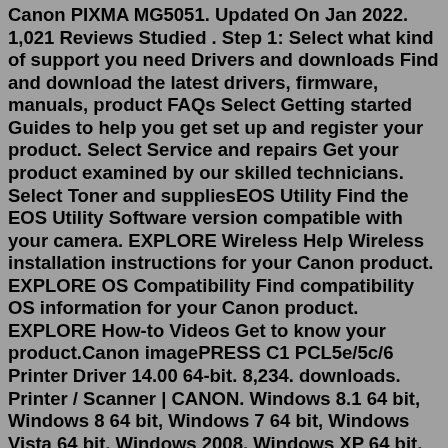Canon PIXMA MG5051. Updated On Jan 2022. 1,021 Reviews Studied . Step 1: Select what kind of support you need Drivers and downloads Find and download the latest drivers, firmware, manuals, product FAQs Select Getting started Guides to help you get set up and register your product. Select Service and repairs Get your product examined by our skilled technicians. Select Toner and suppliesEOS Utility Find the EOS Utility Software version compatible with your camera. EXPLORE Wireless Help Wireless installation instructions for your Canon product. EXPLORE OS Compatibility Find compatibility OS information for your Canon product. EXPLORE How-to Videos Get to know your product.Canon imagePRESS C1 PCL5e/5c/6 Printer Driver 14.00 64-bit. 8,234. downloads. Printer / Scanner | CANON. Windows 8.1 64 bit, Windows 8 64 bit, Windows 7 64 bit, Windows Vista 64 bit, Windows 2008, Windows XP 64 bit, Windows 2003. Oct 9th 2020, 07:35 GMT. download. Download drivers, software, firmware and manuals and get access to online technical support